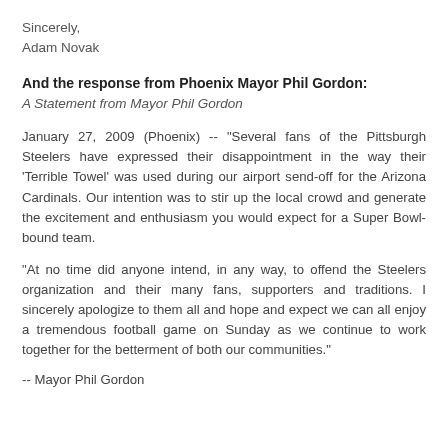Sincerely,
Adam Novak
And the response from Phoenix Mayor Phil Gordon:
A Statement from Mayor Phil Gordon
January 27, 2009 (Phoenix) -- "Several fans of the Pittsburgh Steelers have expressed their disappointment in the way their 'Terrible Towel' was used during our airport send-off for the Arizona Cardinals. Our intention was to stir up the local crowd and generate the excitement and enthusiasm you would expect for a Super Bowl-bound team.
"At no time did anyone intend, in any way, to offend the Steelers organization and their many fans, supporters and traditions. I sincerely apologize to them all and hope and expect we can all enjoy a tremendous football game on Sunday as we continue to work together for the betterment of both our communities."
-- Mayor Phil Gordon